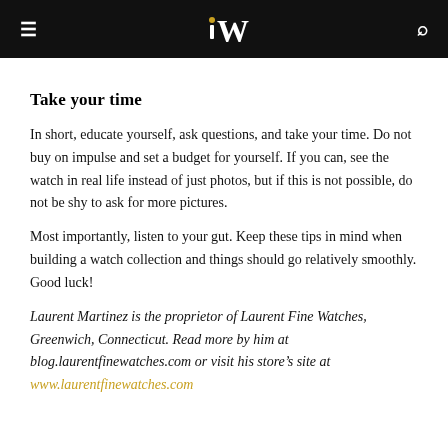iW (logo) | hamburger menu | search
Take your time
In short, educate yourself, ask questions, and take your time. Do not buy on impulse and set a budget for yourself. If you can, see the watch in real life instead of just photos, but if this is not possible, do not be shy to ask for more pictures.
Most importantly, listen to your gut. Keep these tips in mind when building a watch collection and things should go relatively smoothly. Good luck!
Laurent Martinez is the proprietor of Laurent Fine Watches, Greenwich, Connecticut. Read more by him at blog.laurentfinewatches.com or visit his store’s site at www.laurentfinewatches.com